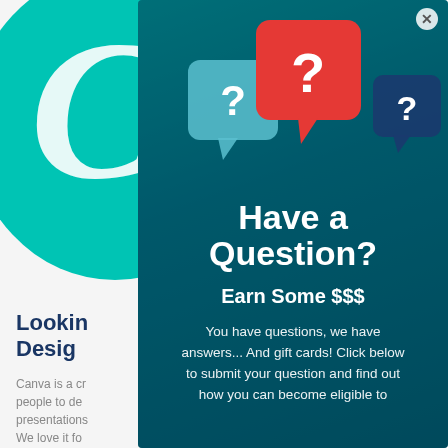[Figure (screenshot): Left side of a Canva website page showing a teal circular logo with a stylized white italic C, and partial text 'Looking for Design...' with body text starting 'Canva is a cr...']
[Figure (infographic): Popup modal overlay with teal/dark teal gradient background. Three speech bubble icons with question marks (light blue, red, dark blue). Large white text 'Have a Question?' with subheading 'Earn Some $$$' and body text about submitting questions for gift cards. Close button (X) in top right.]
Have a Question?
Earn Some $$$
You have questions, we have answers... And gift cards! Click below to submit your question and find out how you can become eligible to
Looking for Design...
Canva is a cr... people to de... presentation... We love it fo... beautiful, ey... recommend...